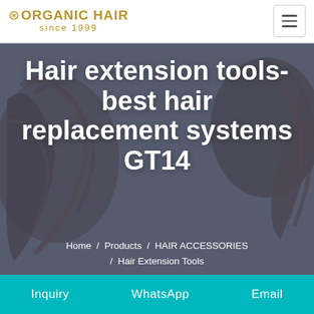ORGANIC HAIR since 1999
Hair extension tools- best hair replacement systems GT14
Home / Products / HAIR ACCESSORIES / Hair Extension Tools
Inquiry   WhatsApp   Email